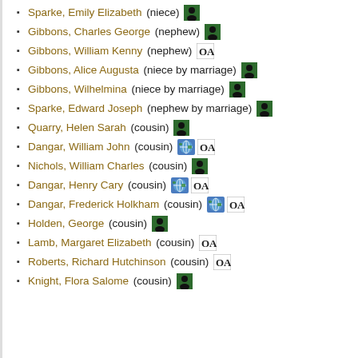Sparke, Emily Elizabeth (niece)
Gibbons, Charles George (nephew)
Gibbons, William Kenny (nephew)
Gibbons, Alice Augusta (niece by marriage)
Gibbons, Wilhelmina (niece by marriage)
Sparke, Edward Joseph (nephew by marriage)
Quarry, Helen Sarah (cousin)
Dangar, William John (cousin)
Nichols, William Charles (cousin)
Dangar, Henry Cary (cousin)
Dangar, Frederick Holkham (cousin)
Holden, George (cousin)
Lamb, Margaret Elizabeth (cousin)
Roberts, Richard Hutchinson (cousin)
Knight, Flora Salome (cousin)